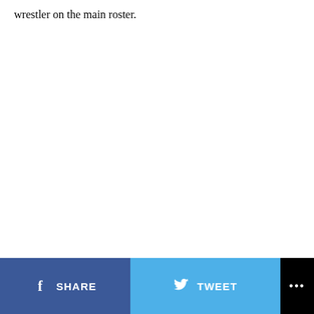wrestler on the main roster.
SHARE  TWEET  ...